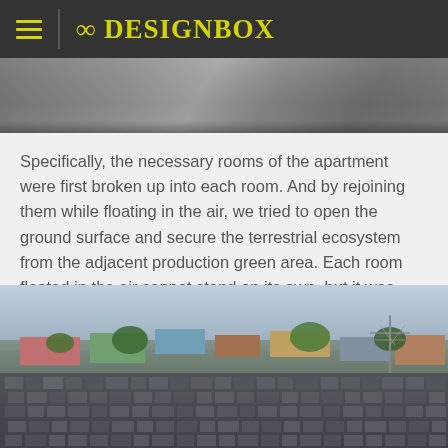8 DESIGNBOX
[Figure (photo): Partial view of a building exterior, cropped at top of page]
Specifically, the necessary rooms of the apartment were first broken up into each room. And by rejoining them while floating in the air, we tried to open the ground surface and secure the terrestrial ecosystem from the adjacent production green area. Each room floated in the air cannot stand on its own, but it was structured so that each dwelling unit supported each other around the staircase room.
[Figure (photo): Aerial view of a modern apartment complex with dark stone tile cladding surrounded by a Japanese suburban neighborhood with houses, trees, and utility poles]